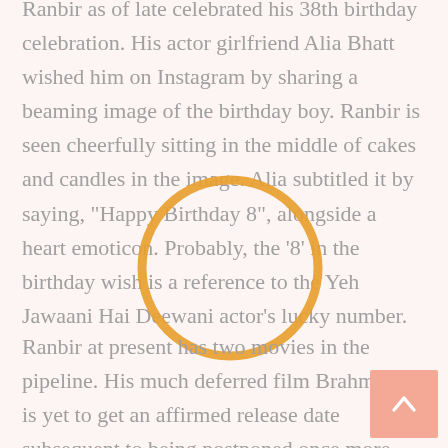Ranbir as of late celebrated his 38th birthday celebration. His actor girlfriend Alia Bhatt wished him on Instagram by sharing a beaming image of the birthday boy. Ranbir is seen cheerfully sitting in the middle of cakes and candles in the image. Alia subtitled it by saying, "Happy Birthday 8", alongside a heart emoticon. Probably, the '8' in the birthday wish is a reference to the Yeh Jawaani Hai Deewani actor's lucky number.
[Figure (illustration): Orange circle outline overlay on text, highlighting the phrase 'two movies' area]
Ranbir at present has two movies in the pipeline. His much deferred film Brahmastra is yet to get an affirmed release date subsequent to being postponed once more due to Covid pandemic. He will be seen with Alia for the first time on screen in Brahmastra. He additionally been dealing with his other film, Samshera, in which he plays the lead role. It likewise stars Vaani Kapoor and Sanjay Dutt.